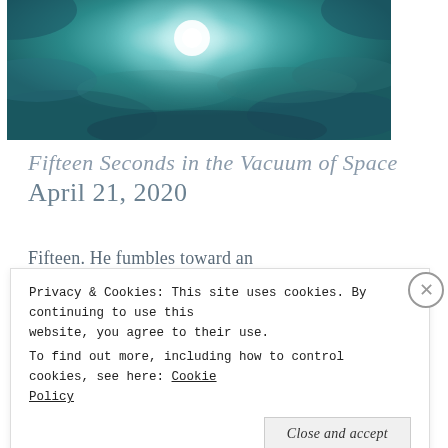[Figure (photo): Dramatic teal/turquoise sky with bright glowing sun and cloud formations, underwater or atmospheric effect]
Fifteen Seconds in the Vacuum of Space
April 21, 2020
Fifteen. He fumbles toward an
Privacy & Cookies: This site uses cookies. By continuing to use this website, you agree to their use.
To find out more, including how to control cookies, see here: Cookie Policy
Close and accept